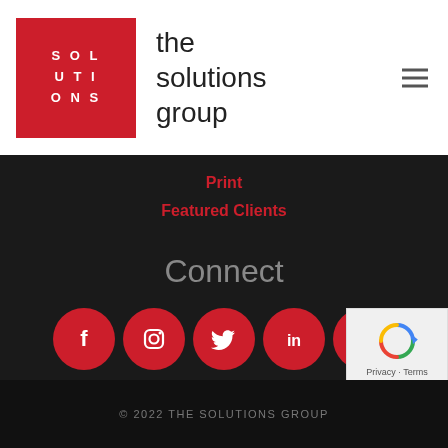[Figure (logo): The Solutions Group logo: red square with white bold letter grid SOL/UTI/ONS, beside the text 'the solutions group' in dark sans-serif]
Print
Featured Clients
Connect
[Figure (infographic): Five red circular social media icons: Facebook, Instagram, Twitter, LinkedIn, YouTube]
© 2022 THE SOLUTIONS GROUP
[Figure (other): reCAPTCHA badge with recycling-arrow icon and Privacy - Terms links]